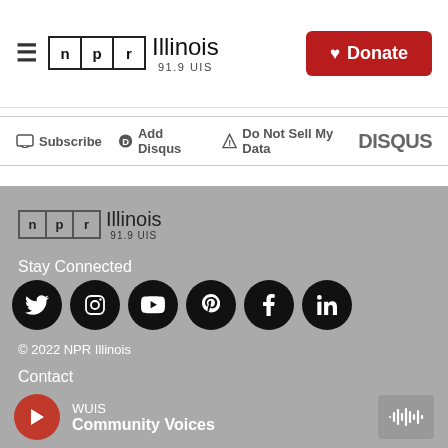NPR Illinois 91.9 UIS | Donate
Subscribe | Add Disqus | Do Not Sell My Data | DISQUS
[Figure (logo): NPR Illinois 91.9 UIS logo in footer]
Stay Connected
[Figure (infographic): Social media icons: Twitter, Instagram, YouTube, Pinterest, Facebook, LinkedIn]
© 2022 NPR Illinois
Contact
WUIS
Community Voices